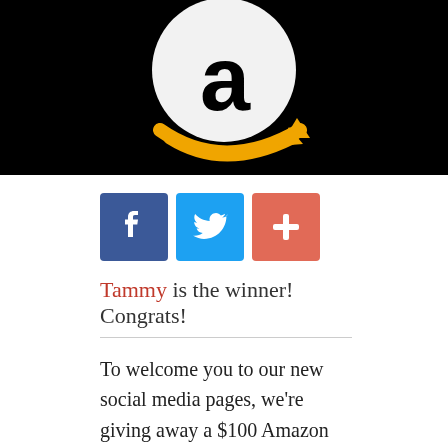[Figure (logo): Amazon logo — white smile/arrow on black background]
[Figure (infographic): Social media share buttons: Facebook (blue), Twitter (light blue), Add/Plus (coral/red-orange)]
Tammy is the winner! Congrats!
To welcome you to our new social media pages, we're giving away a $100 Amazon gift card. To enter for a chance to win, all you have to do is Like Us on Facebook or Follow Us on Twitter, then leave a comment below.